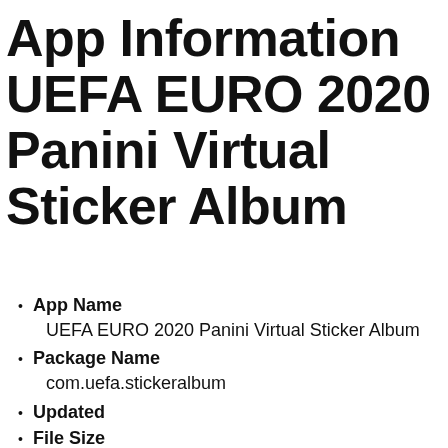App Information UEFA EURO 2020 Panini Virtual Sticker Album
App Name
UEFA EURO 2020 Panini Virtual Sticker Album
Package Name
com.uefa.stickeralbum
Updated
File Size
Undefined
Requires Android
Android
Version
Developer
UEFA
Install